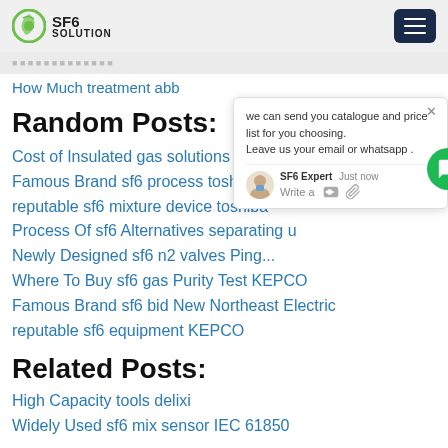SF6 SOLUTION
How Much treatment abb
Random Posts:
Cost of Insulated gas solutions statcom
Famous Brand sf6 process toshiba
reputable sf6 mixture device toshiba
Process Of sf6 Alternatives separating u
Newly Designed sf6 n2 valves Ping...
Where To Buy sf6 gas Purity Test KEPCO
Famous Brand sf6 bid New Northeast Electric
reputable sf6 equipment KEPCO
Related Posts:
High Capacity tools delixi
Widely Used sf6 mix sensor IEC 61850